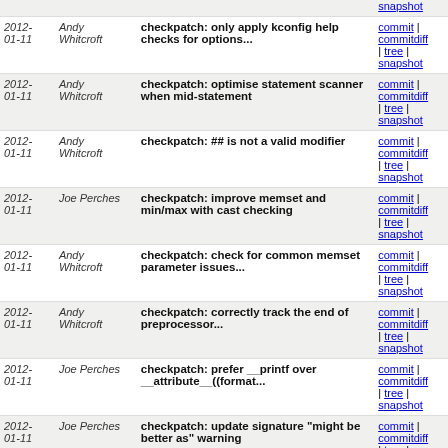| Date | Author | Message | Links |
| --- | --- | --- | --- |
| 2012-01-11 | Andy Whitcroft | checkpatch: only apply kconfig help checks for options... | commit | commitdiff | tree | snapshot |
| 2012-01-11 | Andy Whitcroft | checkpatch: optimise statement scanner when mid-statement | commit | commitdiff | tree | snapshot |
| 2012-01-11 | Andy Whitcroft | checkpatch: ## is not a valid modifier | commit | commitdiff | tree | snapshot |
| 2012-01-11 | Joe Perches | checkpatch: improve memset and min/max with cast checking | commit | commitdiff | tree | snapshot |
| 2012-01-11 | Andy Whitcroft | checkpatch: check for common memset parameter issues... | commit | commitdiff | tree | snapshot |
| 2012-01-11 | Andy Whitcroft | checkpatch: correctly track the end of preprocessor... | commit | commitdiff | tree | snapshot |
| 2012-01-11 | Joe Perches | checkpatch: prefer __printf over __attribute__((format... | commit | commitdiff | tree | snapshot |
| 2012-01-11 | Joe Perches | checkpatch: update signature "might be better as" warning | commit | commitdiff | tree | snapshot |
| 2012-01-11 | Steve Hodgson | btree: export btree_get_prev() so modules can use btree... | commit | commitdiff | tree | snapshot |
| 2012-01-11 | Mark Brown | leds: convert wm8350 driver to devm_kzalloc() | commit | commitdiff | tree | snapshot |